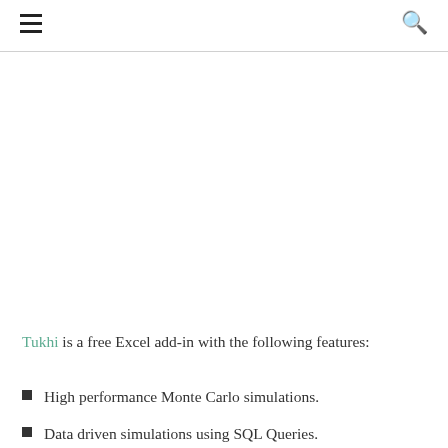≡  🔍
Tukhi is a free Excel add-in with the following features:
High performance Monte Carlo simulations.
Data driven simulations using SQL Queries.